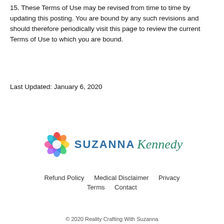15. These Terms of Use may be revised from time to time by updating this posting. You are bound by any such revisions and should therefore periodically visit this page to review the current Terms of Use to which you are bound.
Last Updated: January 6, 2020
[Figure (logo): Suzanna Kennedy logo with colorful heart/flower icon and stylized text]
Refund Policy   Medical Disclaimer   Privacy
Terms   Contact
© 2020 Reality Crafting With Suzanna